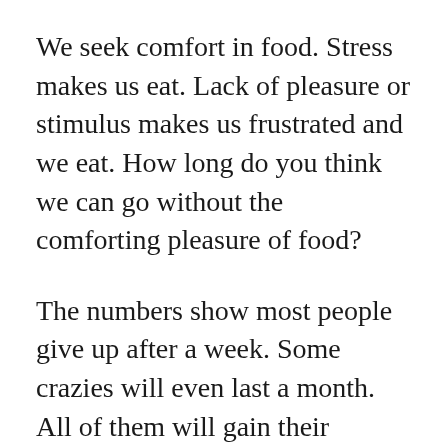We seek comfort in food. Stress makes us eat. Lack of pleasure or stimulus makes us frustrated and we eat. How long do you think we can go without the comforting pleasure of food?
The numbers show most people give up after a week. Some crazies will even last a month. All of them will gain their weight back, and put some more on ‘for good measure’.
In a cruel perversion of justice, eating